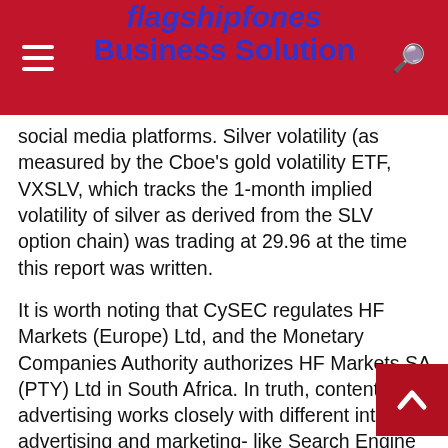flagshipfones Business Solution
social media platforms. Silver volatility (as measured by the Cboe’s gold volatility ETF, VXSLV, which tracks the 1-month implied volatility of silver as derived from the SLV option chain) was trading at 29.96 at the time this report was written.
It is worth noting that CySEC regulates HF Markets (Europe) Ltd, and the Monetary Companies Authority authorizes HF Markets SA (PTY) Ltd in South Africa. In truth, content advertising works closely with different internet advertising and marketing- like Search Engine Optimisation. When you’re trying to start an SEARCH ENGINE OPTIMIZATION marketing technique, you must produce content.